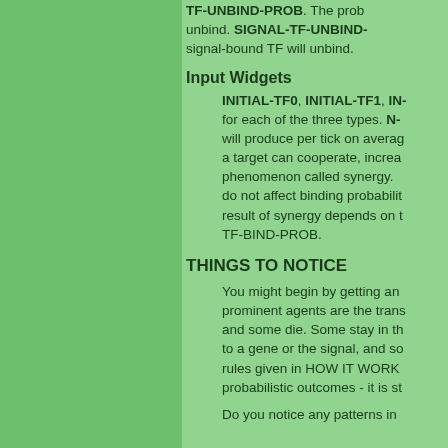TF-UNBIND-PROB. The prob unbind. SIGNAL-TF-UNBIND- signal-bound TF will unbind.
Input Widgets
INITIAL-TF0, INITIAL-TF1, IN- for each of the three types. N- will produce per tick on avera- a target can cooperate, increa- phenomenon called synergy. do not affect binding probabilit- result of synergy depends on TF-BIND-PROB.
THINGS TO NOTICE
You might begin by getting an prominent agents are the trans- and some die. Some stay in th- to a gene or the signal, and so rules given in HOW IT WORK- probabilistic outcomes - it is st-
Do you notice any patterns in